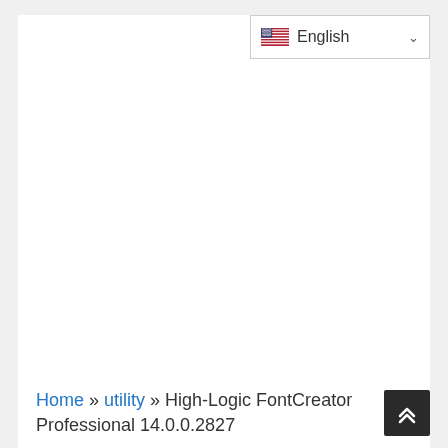[Figure (screenshot): Language selector dropdown button showing US flag and 'English' with a chevron/dropdown arrow]
Home » utility » High-Logic FontCreator Professional 14.0.0.2827